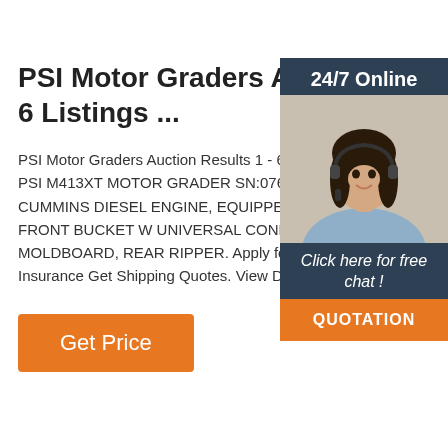PSI Motor Graders Auction Results 1 - 6 Listings ...
PSI Motor Graders Auction Results 1 - 6 of 6 L... PSI M413XT MOTOR GRADER SN:0763 POW... CUMMINS DIESEL ENGINE, EQUIPPED WIT... FRONT BUCKET W UNIVERSAL CONNECT,... MOLDBOARD, REAR RIPPER. Apply for Fina... Insurance Get Shipping Quotes. View Details.
[Figure (photo): Customer service representative woman with headset, smiling, with '24/7 Online' header and 'Click here for free chat!' text and orange QUOTATION button on dark navy sidebar]
Get Price